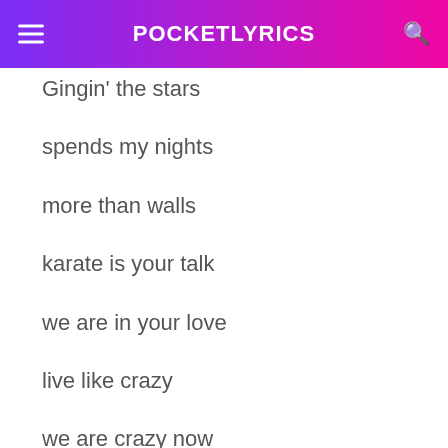POCKETLYRICS
Gingin' the stars
spends my nights
more than walls
karate is your talk
we are in your love
live like crazy
we are crazy now
crazy says